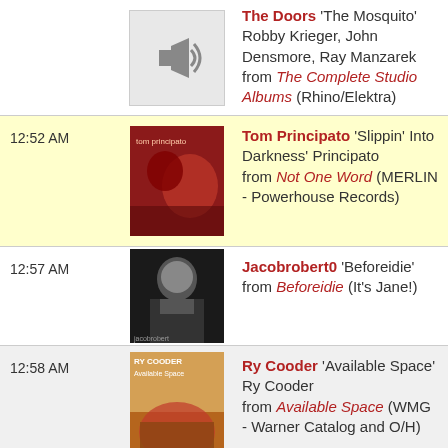The Doors 'The Mosquito' Robby Krieger, John Densmore, Ray Manzarek from The Complete Studio Albums (Rhino/Elektra)
12:52 AM Tom Principato 'Slippin' Into Darkness' Principato from Not One Word (MERLIN - Powerhouse Records)
12:57 AM Jacobrobert0 'Beforeidie' from Beforeidie (It's Jane!)
12:58 AM Ry Cooder 'Available Space' Ry Cooder from Available Space (WMG - Warner Catalog and O/H)
12:58 AM Tatonic 'Hippies (Includes Firing Line Audio Copyright Stanford University)'